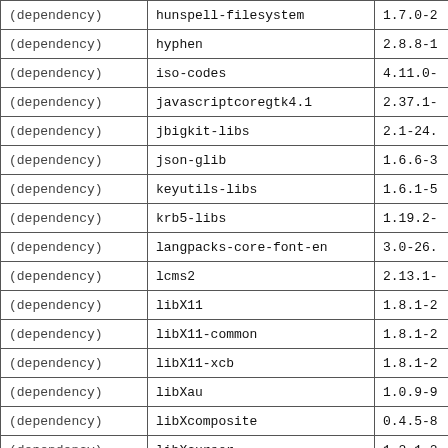| type | package | version |
| --- | --- | --- |
| (dependency) | hunspell-filesystem | 1.7.0-2 |
| (dependency) | hyphen | 2.8.8-1 |
| (dependency) | iso-codes | 4.11.0- |
| (dependency) | javascriptcoregtk4.1 | 2.37.1- |
| (dependency) | jbigkit-libs | 2.1-24. |
| (dependency) | json-glib | 1.6.6-3 |
| (dependency) | keyutils-libs | 1.6.1-5 |
| (dependency) | krb5-libs | 1.19.2- |
| (dependency) | langpacks-core-font-en | 3.0-26. |
| (dependency) | lcms2 | 2.13.1- |
| (dependency) | libX11 | 1.8.1-2 |
| (dependency) | libX11-common | 1.8.1-2 |
| (dependency) | libX11-xcb | 1.8.1-2 |
| (dependency) | libXau | 1.0.9-9 |
| (dependency) | libXcomposite | 0.4.5-8 |
| (dependency) | libXcursor | 1.2.1-2 |
| (dependency) | libXdamage | 1.1.5-8 |
| (dependency) | libXext | 1.3.4-9 |
| (dependency) | libXfi... |  |